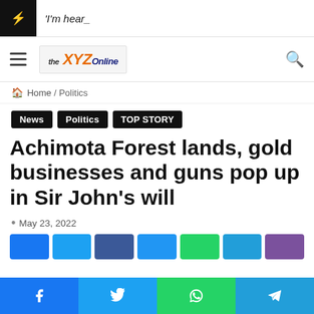'I'm hear_
[Figure (logo): XYZ Online news website logo]
Home / Politics
News  Politics  TOP STORY
Achimota Forest lands, gold businesses and guns pop up in Sir John's will
May 23, 2022